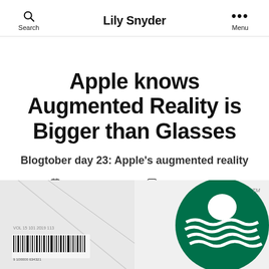Lily Snyder
Apple knows Augmented Reality is Bigger than Glasses
Blogtober day 23: Apple's augmented reality
October 23, 2019  No Comments
[Figure (photo): Bottom strip showing two partial images: left side shows a product/package label with barcode, right side shows a partial Starbucks logo in green]